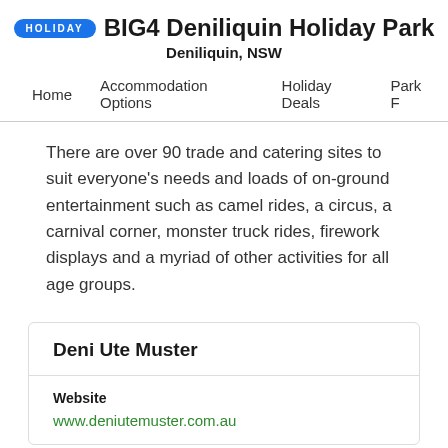HOLIDAY  BIG4 Deniliquin Holiday Park
Deniliquin, NSW
Home   Accommodation Options   Holiday Deals   Park F
There are over 90 trade and catering sites to suit everyone's needs and loads of on-ground entertainment such as camel rides, a circus, a carnival corner, monster truck rides, firework displays and a myriad of other activities for all age groups.
Deni Ute Muster
Website
www.deniutemuster.com.au